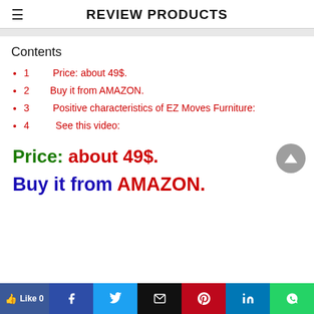REVIEW PRODUCTS
Contents
1   Price: about 49$.
2   Buy it from AMAZON.
3   Positive characteristics of EZ Moves Furniture:
4   See this video:
Price: about 49$.
Buy it from AMAZON.